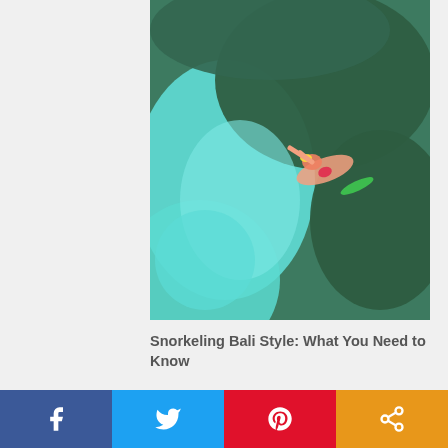[Figure (photo): Aerial view of a person snorkeling over turquoise water and coral reef]
Snorkeling Bali Style: What You Need to Know
[Figure (photo): Snorkeling mask and snorkel on white sand beach with blue ocean and sky in background]
Social share bar with Facebook, Twitter, Pinterest, and Share buttons